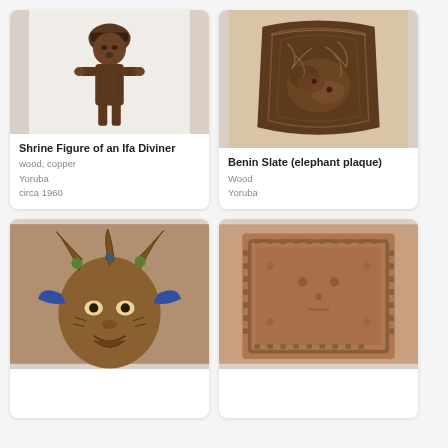[Figure (photo): Close-up of a carved wooden shrine figure of an Ifa diviner, dark brown wood, humanoid form with flat hat, Yoruba artifact]
Shrine Figure of an Ifa Diviner
wood, copper
Yoruba
circa 1960
[Figure (photo): Carved wooden Benin Slate (elephant plaque), arched shape with intricate relief carvings of animals and foliage, dark brown wood]
Benin Slate (elephant plaque)
Wood
Yoruba
[Figure (photo): Colorful sculptural mask or figure with horns and decorative headdress, brown and gold tones with blue accents, Yoruba]
[Figure (photo): Square terracotta or clay plaque with a simple face carved in relief and decorative border pattern, brownish-orange tone]